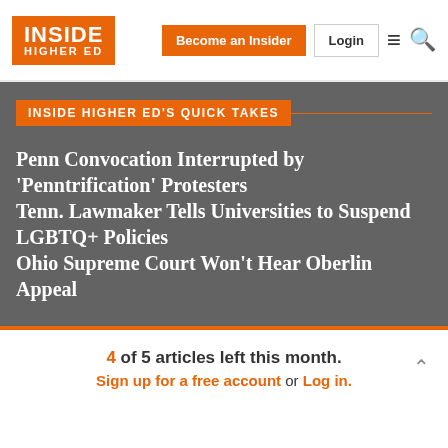INSIDE HIGHER ED — Become an Insider | Login
INSIDE HIGHER ED'S QUICK TAKES
Penn Convocation Interrupted by 'Penntrification' Protesters
Tenn. Lawmaker Tells Universities to Suspend LGBTQ+ Policies
Ohio Supreme Court Won't Hear Oberlin Appeal
4 of 5 articles left this month. Sign up for a free account or Log in.